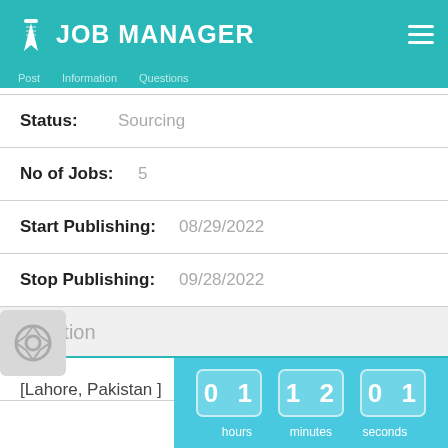JOB MANAGER
Status:  Sourcing
No of Jobs:  5
Start Publishing:  08/29/2022
Stop Publishing:  09/28/2022
Location
[Lahore, Pakistan ]
[Figure (other): Timer display showing 01 hours, 12 minutes, 01 seconds on a teal background]